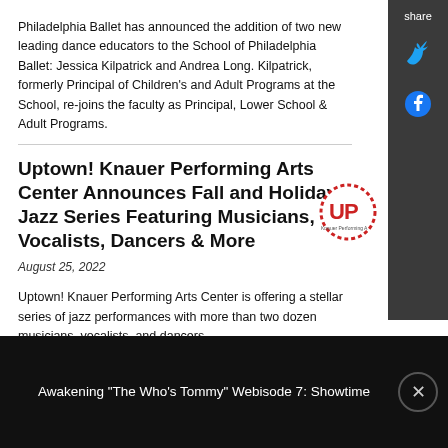Philadelphia Ballet has announced the addition of two new leading dance educators to the School of Philadelphia Ballet: Jessica Kilpatrick and Andrea Long. Kilpatrick, formerly Principal of Children's and Adult Programs at the School, re-joins the faculty as Principal, Lower School & Adult Programs.
Uptown! Knauer Performing Arts Center Announces Fall and Holiday Jazz Series Featuring Musicians, Vocalists, Dancers & More
[Figure (logo): Uptown! Knauer Performing Arts Center circular logo with red dotted border and red UP text]
August 25, 2022
Uptown! Knauer Performing Arts Center is offering a stellar series of jazz performances with more than two dozen musicians, vocalists, and dancers
Awakening "The Who's Tommy" Webisode 7: Showtime